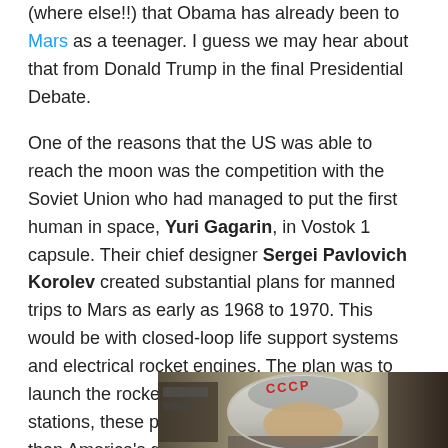(where else!!) that Obama has already been to Mars as a teenager. I guess we may hear about that from Donald Trump in the final Presidential Debate.
One of the reasons that the US was able to reach the moon was the competition with the Soviet Union who had managed to put the first human in space, Yuri Gagarin, in Vostok 1 capsule. Their chief designer Sergei Pavlovich Korolev created substantial plans for manned trips to Mars as early as 1968 to 1970. This would be with closed-loop life support systems and electrical rocket engines. The plan was to launch the rockets from large orbiting space stations, these plans were much more ambitious than America's goal of landing on the moon.
[Figure (photo): Photo of a cosmonaut (Yuri Gagarin) wearing a white space helmet with CCCP written in red Cyrillic letters on the helmet. The cosmonaut is looking slightly to the side in a cockpit environment.]